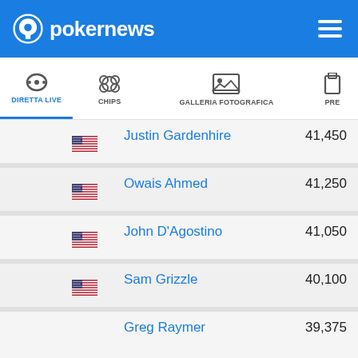pokernews
DIRETTA LIVE | CHIPS | GALLERIA FOTOGRAFICA | PRE
Justin Gardenhire — 41,450
Owais Ahmed — 41,250
John D'Agostino — 41,050
Sam Grizzle — 40,100
Greg Raymer — 39,375
(unknown) — 39,100